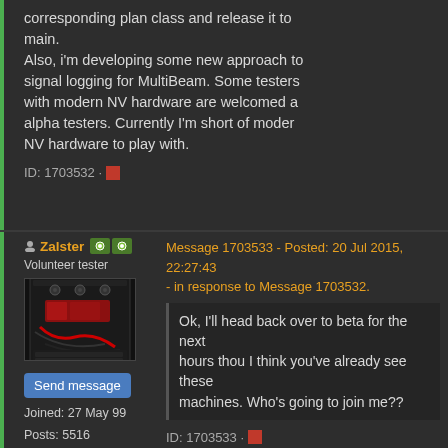corresponding plan class and release it to main. Also, i'm developing some new approach to signal logging for MultiBeam. Some testers with modern NV hardware are welcomed as alpha testers. Currently I'm short of modern NV hardware to play with.
ID: 1703532 · ▪
Zalster - Volunteer tester
Message 1703533 - Posted: 20 Jul 2015, 22:27:43 - in response to Message 1703532.
Ok, I'll head back over to beta for the next hours thou I think you've already see these machines. Who's going to join me??
Send message
Joined: 27 May 99
Posts: 5516
ID: 1703533 · ▪